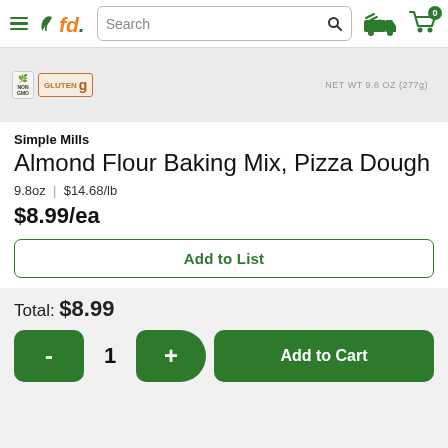fd. Search | Delivery | Cart 0
[Figure (photo): Product image area showing Simple Mills Almond Flour Baking Mix Pizza Dough package with non-GMO and gluten-free certification badges. Net WT 9.8 OZ (277g) label visible.]
Simple Mills
Almond Flour Baking Mix, Pizza Dough
9.8oz | $14.68/lb
$8.99/ea
Add to List
Total: $8.99
- 1 + Add to Cart